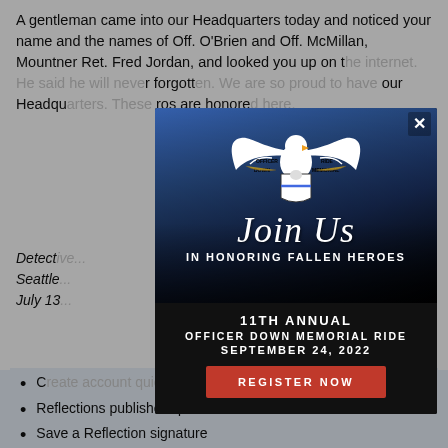A gentleman came into our Headquarters today and noticed your name and the names of Off. O'Brien and Off. McMillan, Mountner Ret. Fred Jordan, and looked you up on the internet. He said he will never forget [heroes]. Our Headquarters heroes are honored.
Detective...
Seattle...
July 13...
[Figure (infographic): Officer Down Memorial Ride popup modal showing motorcycle riders in background, eagle logo at top, 'Join Us IN HONORING FALLEN HEROES' text, '11TH ANNUAL OFFICER DOWN MEMORIAL RIDE SEPTEMBER 24, 2022', and a red 'REGISTER NOW' button. Has an X close button in the top right corner.]
Want to ... ate a free...
C[reate account quickly]
Reflections published quicker
Save a Reflection signature
View, edit or delete any Reflection you've left in